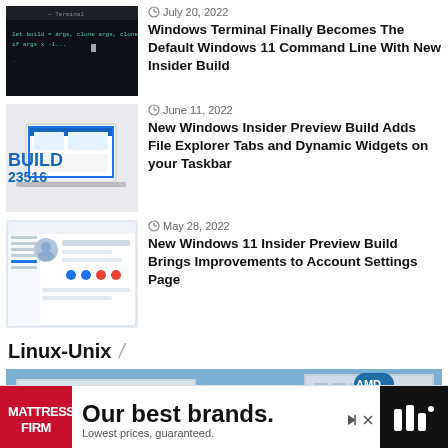[Figure (screenshot): Windows Terminal dark command line screenshot]
July 20, 2022
Windows Terminal Finally Becomes The Default Windows 11 Command Line With New Insider Build
[Figure (screenshot): Windows 11 laptop with BUILD 23516 text on white background]
June 11, 2022
New Windows Insider Preview Build Adds File Explorer Tabs and Dynamic Widgets on your Taskbar
[Figure (screenshot): Windows 11 Account Settings page screenshot]
May 28, 2022
New Windows 11 Insider Preview Build Brings Improvements to Account Settings Page
Linux-Unix
[Figure (photo): Building exterior photo for Linux-Unix section]
[Figure (photo): Advertisement: Mattress Firm - Our best brands. Lowest prices, guaranteed.]